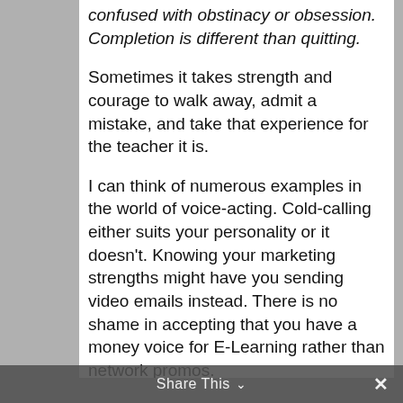confused with obstinacy or obsession.  Completion is different than quitting.
Sometimes it takes strength and courage to walk away, admit a mistake, and take that experience for the teacher it is.
I can think of numerous examples in the world of voice-acting.  Cold-calling either suits your personality or it doesn't.  Knowing your marketing strengths might have you sending video emails instead.  There is no shame in accepting that you have a money voice for E-Learning rather than network promos.
Share This ⌄  ✕